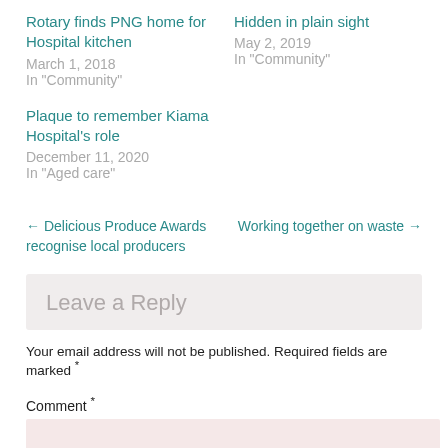Rotary finds PNG home for Hospital kitchen
March 1, 2018
In "Community"
Hidden in plain sight
May 2, 2019
In "Community"
Plaque to remember Kiama Hospital's role
December 11, 2020
In "Aged care"
← Delicious Produce Awards recognise local producers
Working together on waste →
Leave a Reply
Your email address will not be published. Required fields are marked *
Comment *